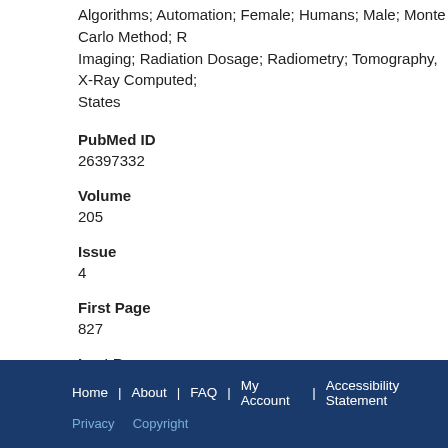Algorithms; Automation; Female; Humans; Male; Monte Carlo Method; R Imaging; Radiation Dosage; Radiometry; Tomography, X-Ray Computed; States
PubMed ID
26397332
Volume
205
Issue
4
First Page
827
Last Page
833
Home | About | FAQ | My Account | Accessibility Statement Privacy Copyright